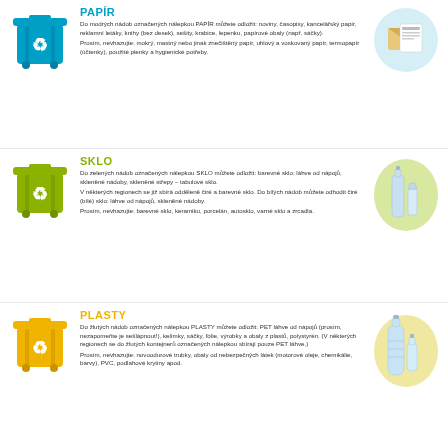PAPÍR
Do modrých nádob označených nálepkou PAPÍR můžete odložit: noviny, časopisy, kancelářský papír, reklamní letáky, knihy (bez desek), sešity, krabice, lepenku, papírové obaly (např. sáčky).
Prosím, nevhazujte: mokrý, mastný nebo jinak znečištěný papír, uhlový a voskovaný papír, termopapír (účtenky), použité plenky a hygienické potřeby.
[Figure (illustration): Blue recycling bin icon with recycling symbol]
[Figure (illustration): Newspaper and envelope illustration in blue circle]
SKLO
Do zelených nádob označených nálepkou SKLO můžete odložit: barevné sklo: láhve od nápojů, skleněné nádoby, skleněné střepy – tabulové sklo.
V některých regionech se již sbírá odděleně čiré a barevné sklo. Do bílých nádob můžete odhodit čiré (bílé) sklo: láhve od nápojů, skleněné nádoby.
Prosím, nevhazujte: barevné sklo, keramiku, porcelán, autosklo, varné sklo a zrcadla.
[Figure (illustration): Green recycling bin icon with recycling symbol]
[Figure (illustration): Glass bottles illustration in green circle]
PLASTY
Do žlutých nádob označených nálepkou PLASTY můžete odložit: PET láhve od nápojů (prosím, nezapomeňte je sešlápnout!), kelímky, sáčky, fólie, výrobky a obaly z plastů, polystyrén. (V některých regionech se do žlutých kontejnerů označených nálepkou sbírají pouze PET láhve.)
Prosím, nevhazujte: novoodurové trubky, obaly od nebezpečných látek (motorové oleje, chemikálie, barvy), PVC, podlahové krytiny apod.
[Figure (illustration): Yellow recycling bin icon with recycling symbol]
[Figure (illustration): Plastic bottles illustration in yellow circle]